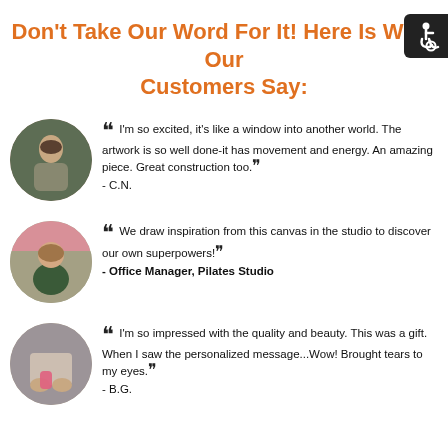Don't Take Our Word For It! Here Is What Our Customers Say:
[Figure (illustration): Accessibility icon - wheelchair symbol on black rounded rectangle background]
[Figure (photo): Circular avatar photo of a woman standing in front of colorful forest artwork]
“I'm so excited, it's like a window into another world. The artwork is so well done-it has movement and energy. An amazing piece. Great construction too.” - C.N.
[Figure (photo): Circular avatar photo of a smiling woman in front of a colorful painting]
“We draw inspiration from this canvas in the studio to discover our own superpowers!” - Office Manager, Pilates Studio
[Figure (photo): Circular avatar photo showing hands holding a canvas with a cat and pink item]
“I'm so impressed with the quality and beauty. This was a gift. When I saw the personalized message...Wow! Brought tears to my eyes.” - B.G.